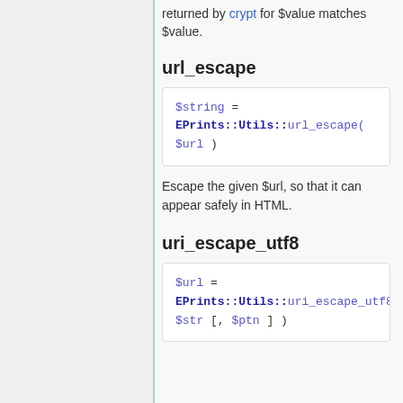returned by crypt for $value matches $value.
url_escape
$string = EPrints::Utils::url_escape( $url )
Escape the given $url, so that it can appear safely in HTML.
uri_escape_utf8
$url = EPrints::Utils::uri_escape_utf8 $str [, $ptn ] )